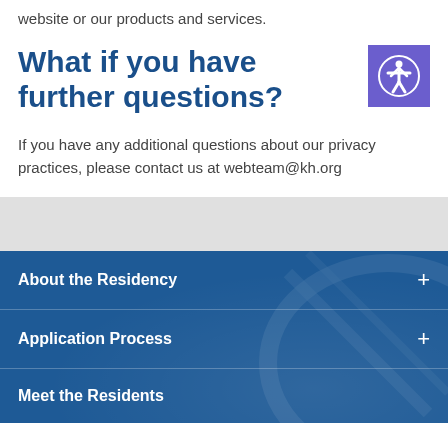website or our products and services.
What if you have further questions?
If you have any additional questions about our privacy practices, please contact us at webteam@kh.org
About the Residency
Application Process
Meet the Residents